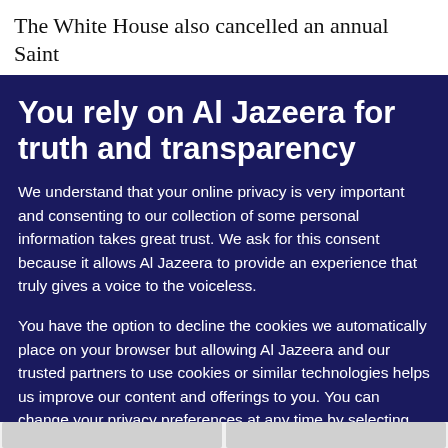The White House also cancelled an annual Saint
You rely on Al Jazeera for truth and transparency
We understand that your online privacy is very important and consenting to our collection of some personal information takes great trust. We ask for this consent because it allows Al Jazeera to provide an experience that truly gives a voice to the voiceless.
You have the option to decline the cookies we automatically place on your browser but allowing Al Jazeera and our trusted partners to use cookies or similar technologies helps us improve our content and offerings to you. You can change your privacy preferences at any time by selecting 'Cookie preferences' at the bottom of your screen. To learn more, please view our Cookie Policy.